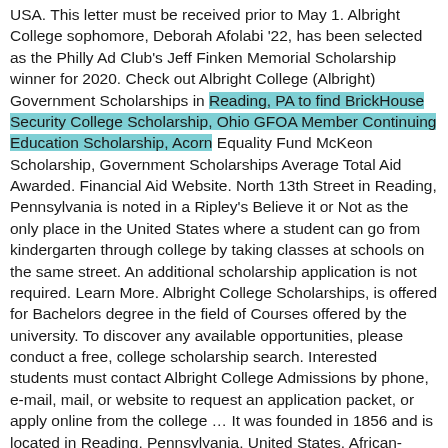USA. This letter must be received prior to May 1. Albright College sophomore, Deborah Afolabi '22, has been selected as the Philly Ad Club's Jeff Finken Memorial Scholarship winner for 2020. Check out Albright College (Albright) Government Scholarships in Reading, PA to find BrickHouse Security College Scholarship, Ohio GFOA Member Continuing Education Scholarship, Acorn Equality Fund McKeon Scholarship, Government Scholarships Average Total Aid Awarded. Financial Aid Website. North 13th Street in Reading, Pennsylvania is noted in a Ripley's Believe it or Not as the only place in the United States where a student can go from kindergarten through college by taking classes at schools on the same street. An additional scholarship application is not required. Learn More. Albright College Scholarships, is offered for Bachelors degree in the field of Courses offered by the university. To discover any available opportunities, please conduct a free, college scholarship search. Interested students must contact Albright College Admissions by phone, e-mail, mail, or website to request an application packet, or apply online from the college … It was founded in 1856 and is located in Reading, Pennsylvania, United States. African-American junior science major; 2 yrs. https://bit.ly/3ok2XuFClick Wealth System - 2021 Biz Opp Offer. Get data and advice about budgeting and paying for Albright College from Edmit. You can apply to this scholarship here.The deadline for the sending your application is Deadline varies.This scholarship is provided by Albright College and the value of this scholarship is Partial Funding. … Members of the Albright faculty